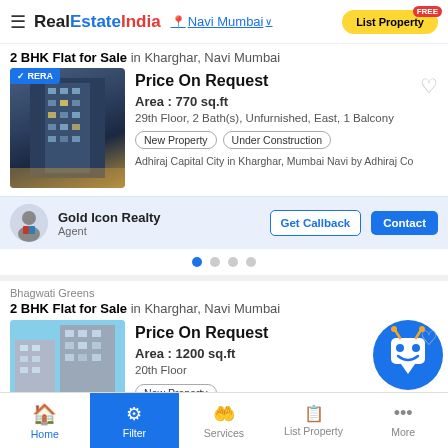RealEstateIndia — Navi Mumbai — List Property FREE
2 BHK Flat for Sale in Kharghar, Navi Mumbai
[Figure (photo): High-rise building with RERA badge]
Price On Request
Area : 770 sq.ft
29th Floor, 2 Bath(s), Unfurnished, East, 1 Balcony
New Property
Under Construction
Adhiraj Capital City in Kharghar, Mumbai Navi by Adhiraj Co
Gold Icon Realty
Agent
Bhagwati Greens
2 BHK Flat for Sale in Kharghar, Navi Mumbai
[Figure (photo): High-rise building photo for Bhagwati Greens]
Price On Request
Area : 1200 sq.ft
20th Floor
New Property
Home | Filter | Services | List Property | More